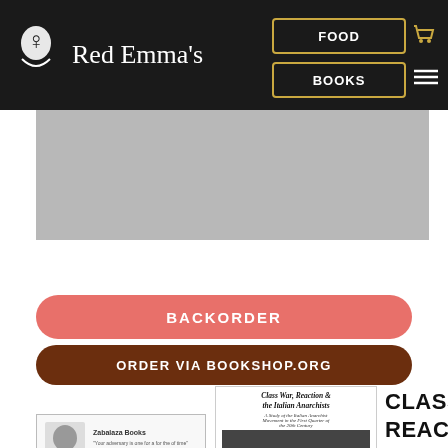Red Emma's | FOOD | BOOKS
[Figure (screenshot): Gray placeholder rectangle representing a book cover image]
BACKORDER
ORDER VIA BOOKSHOP.ORG
[Figure (illustration): Small card with Emma Goldman portrait and text - Zabalaza Books]
[Figure (illustration): Book cover for 'Class War, Reaction & the Italian Anarchists' by Adriana Dadà showing cover text and a black and white photograph of a crowd]
CLASS WAR, REACTION & THE ITALIAN ANARCHISTS
$3.00